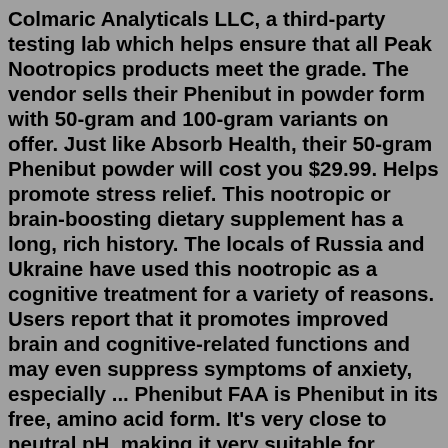Colmaric Analyticals LLC, a third-party testing lab which helps ensure that all Peak Nootropics products meet the grade. The vendor sells their Phenibut in powder form with 50-gram and 100-gram variants on offer. Just like Absorb Health, their 50-gram Phenibut powder will cost you $29.99. Helps promote stress relief. This nootropic or brain-boosting dietary supplement has a long, rich history. The locals of Russia and Ukraine have used this nootropic as a cognitive treatment for a variety of reasons. Users report that it promotes improved brain and cognitive-related functions and may even suppress symptoms of anxiety, especially ... Phenibut FAA is Phenibut in its free, amino acid form. It's very close to neutral pH, making it very suitable for sublingual administration. When consumed in the usual way, Phenibut FAA is 15% more efficient than Phenibut HCl, but otherwise has few advantages. Phenibut is one of the most popular nootropics on the market today.Phenibut HCL Powder is a nootropic compound and derivative of the naturally occurring inhibit...